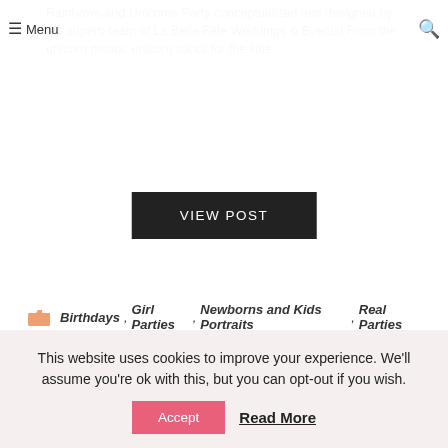≡ Menu
Rainbows and Unicorns Party conceptualized and designed by the superb team of La Belle Fête Weddings & Events! From the unicorn pinata, unicorn sticks for the little
VIEW POST
Birthdays , Girl Parties , Newborns and Kids Portraits , Real Parties
PICNIC THEMED BIRTHDAY PARTY AND FAMILY LIFESTYLE SHOOT
This website uses cookies to improve your experience. We'll assume you're ok with this, but you can opt-out if you wish.
Accept  Read More